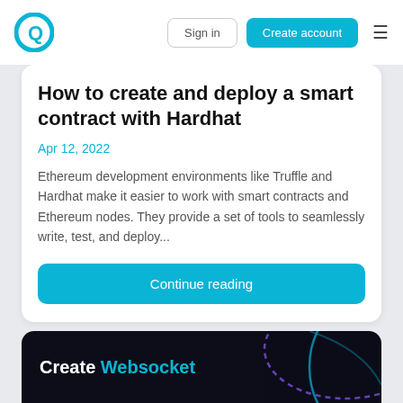Sign in | Create account
How to create and deploy a smart contract with Hardhat
Apr 12, 2022
Ethereum development environments like Truffle and Hardhat make it easier to work with smart contracts and Ethereum nodes. They provide a set of tools to seamlessly write, test, and deploy...
Continue reading
Create Websocket